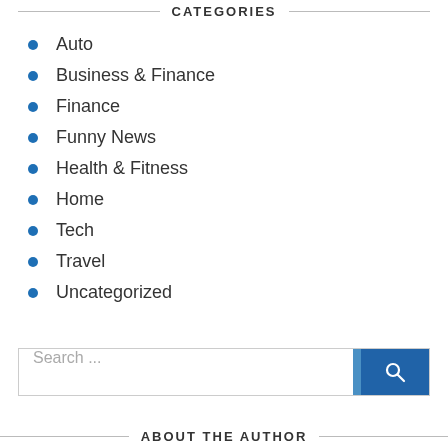CATEGORIES
Auto
Business & Finance
Finance
Funny News
Health & Fitness
Home
Tech
Travel
Uncategorized
Search ...
ABOUT THE AUTHOR